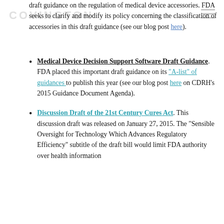COVINGTON
draft guidance on the regulation of medical device accessories. FDA seeks to clarify and modify its policy concerning the classification of accessories in this draft guidance (see our blog post here).
Medical Device Decision Support Software Draft Guidance. FDA placed this important draft guidance on its "A-list" of guidances to publish this year (see our blog post here on CDRH's 2015 Guidance Document Agenda).
Discussion Draft of the 21st Century Cures Act. This discussion draft was released on January 27, 2015. The “Sensible Oversight for Technology Which Advances Regulatory Efficiency” subtitle of the draft bill would limit FDA authority over health information